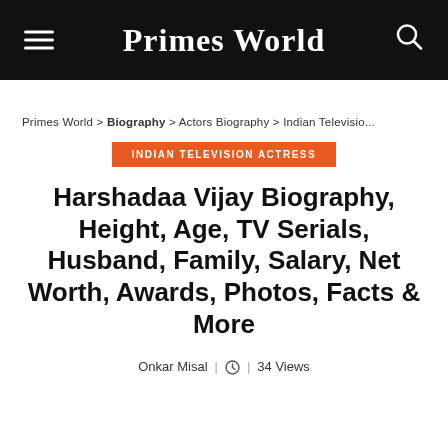Primes World
Primes World > Biography > Actors Biography > Indian Televisio...
INDIAN TELEVISION ACTRESS
Harshadaa Vijay Biography, Height, Age, TV Serials, Husband, Family, Salary, Net Worth, Awards, Photos, Facts & More
Onkar Misal | 34 Views